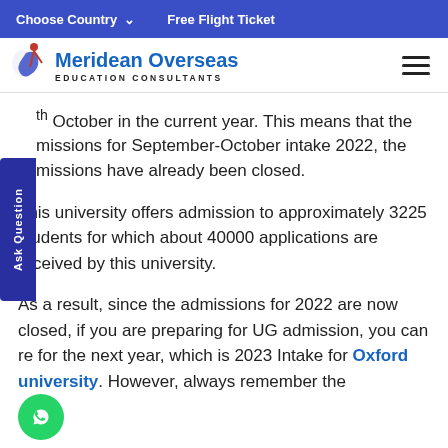Choose Country  ∨    Free Flight Ticket
[Figure (logo): Meridean Overseas Education Consultants logo with blue text and figure icon]
th October in the current year. This means that the missions for September-October intake 2022, the missions have already been closed.
This university offers admission to approximately 3225 students for which about 40000 applications are received by this university.
As a result, since the admissions for 2022 are now closed, if you are preparing for UG admission, you can re for the next year, which is 2023 Intake for Oxford university. However, always remember the